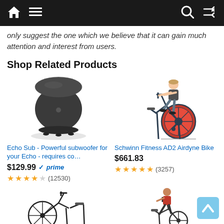Navigation bar with home, menu, search, and shuffle icons
only suggest the one which we believe that it can gain much attention and interest from users.
Shop Related Products
[Figure (photo): Echo Sub - dark cylindrical subwoofer speaker on white background]
Echo Sub - Powerful subwoofer for your Echo - requires co…
$129.99 ✓prime
★★★★☆ (12530)
[Figure (photo): Schwinn Fitness AD2 Airdyne Bike - woman riding an air bike on white background]
Schwinn Fitness AD2 Airdyne Bike
$661.83
★★★★☆ (3257)
[Figure (photo): Air exercise bike - black, side view on white background]
[Figure (photo): Man riding an exercise air bike, wearing red shirt, on white background]